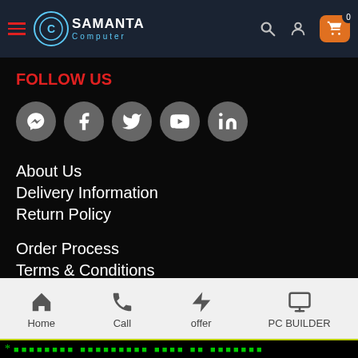Samanta Computer — navigation header with logo, search, user, cart
FOLLOW US
[Figure (other): Row of 5 social media icon buttons: Messenger, Facebook, Twitter, YouTube, LinkedIn — circular grey buttons with white icons]
About Us
Delivery Information
Return Policy
Order Process
Terms & Conditions
Warranty
Home | Call | offer | PC BUILDER — bottom navigation bar
* ✉✉✉✉✉✉✉✉ ✉✉✉✉✉✉✉✉✉ ✉✉✉✉ ✉✉ ✉✉✉✉✉✉✉ (marquee ticker)